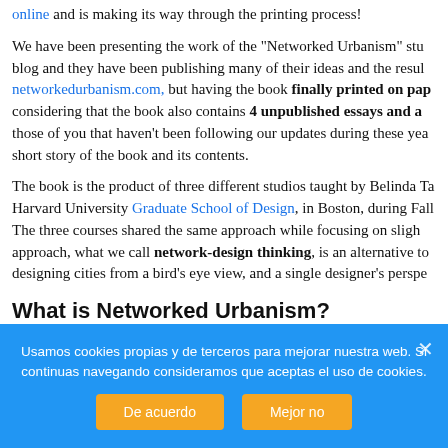online and is making its way through the printing process!
We have been presenting the work of the "Networked Urbanism" studio on this blog and they have been publishing many of their ideas and the results at networkedurbanism.com, but having the book finally printed on paper... considering that the book also contains 4 unpublished essays and a... those of you that haven't been following our updates during these years, a short story of the book and its contents.
The book is the product of three different studios taught by Belinda Ta... Harvard University Graduate School of Design, in Boston, during Fall... The three courses shared the same approach while focusing on sligh... approach, what we call network-design thinking, is an alternative to... designing cities from a bird's eye view, and a single designer's perspe...
What is Networked Urbanism?
Usamos cookies propias y de terceros para mejorar nuestra web. Si continuas navegando consideramos que aceptas el uso de cookies.